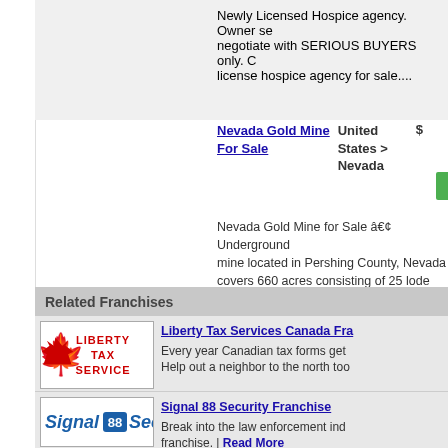Newly Licensed Hospice agency. Owner se negotiate with SERIOUS BUYERS only. C license hospice agency for sale....
Nevada Gold Mine For Sale
United States > Nevada
Nevada Gold Mine for Sale â€¢ Underground mine located in Pershing County, Nevada covers 660 acres consisting of 25 lode clai claims are unpatented. â€¢ The mine i...
Related Franchises
[Figure (logo): Liberty Tax Service logo with red maple leaf and red text reading LIBERTY TAX SERVICE]
Liberty Tax Services Canada Fra Every year Canadian tax forms get Help out a neighbor to the north too
[Figure (logo): Signal 88 Security logo with blue italic text and badge number 88]
Signal 88 Security Franchise Break into the law enforcement ind franchise. | Read More
[Figure (logo): Office Evolution logo with grey 'office' text and orange italic 'evolution' text]
Office Evolution Franchise Provide professional business serv franchise! | Read More